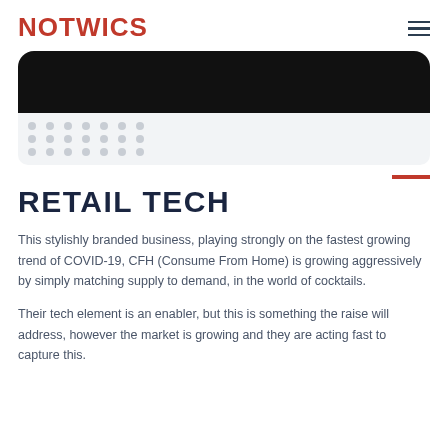NOTWICS
[Figure (screenshot): Partial screenshot of a mobile app interface showing a dark rounded rectangle at top and a dot grid pattern below on a light grey background]
RETAIL TECH
This stylishly branded business, playing strongly on the fastest growing trend of COVID-19, CFH (Consume From Home) is growing aggressively by simply matching supply to demand, in the world of cocktails.
Their tech element is an enabler, but this is something the raise will address, however the market is growing and they are acting fast to capture this.